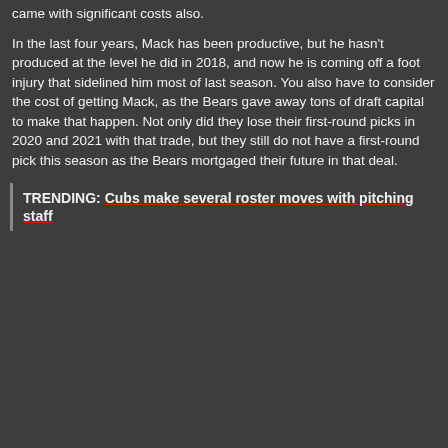came with significant costs also.
In the last four years, Mack has been productive, but he hasn't produced at the level he did in 2018, and now he is coming off a foot injury that sidelined him most of last season. You also have to consider the cost of getting Mack, as the Bears gave away tons of draft capital to make that happen. Not only did they lose their first-round picks in 2020 and 2021 with that trade, but they still do not have a first-round pick this season as the Bears mortgaged their future in that deal.
TRENDING: Cubs make several roster moves with pitching staff